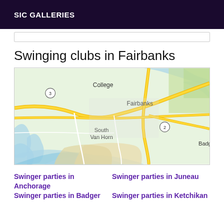SIC GALLERIES
Swinging clubs in Fairbanks
[Figure (map): Google Maps view of Fairbanks, Alaska area showing College, Fairbanks, South Van Horn, Badger neighborhoods with roads and waterways]
Swinger parties in Anchorage
Swinger parties in Badger
Swinger parties in Juneau
Swinger parties in Ketchikan